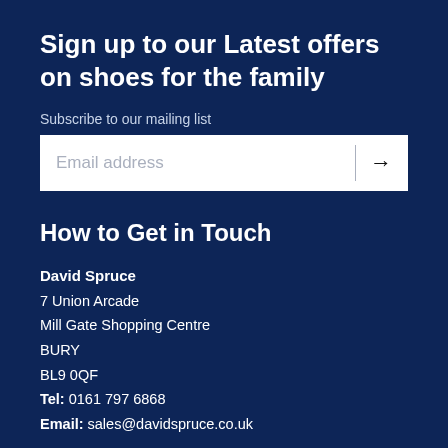Sign up to our Latest offers on shoes for the family
Subscribe to our mailing list
Email address
How to Get in Touch
David Spruce
7 Union Arcade
Mill Gate Shopping Centre
BURY
BL9 0QF
Tel: 0161 797 6868
Email: sales@davidspruce.co.uk